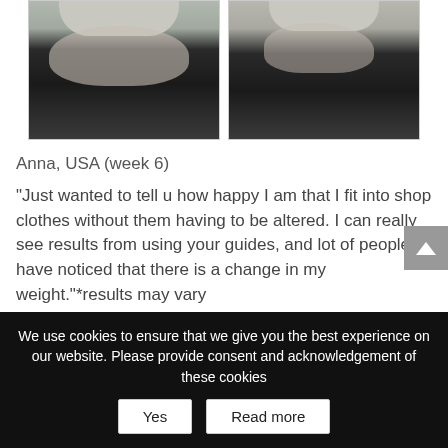[Figure (photo): Two side-by-side before/after torso photos showing weight loss results. Both show a person wearing black clothing from the side view against a light tiled background.]
Anna, USA (week 6)
“Just wanted to tell u how happy I am that I fit into shop clothes without them having to be altered. I can really see results from using your guides, and lot of people have noticed that there is a change in my weight.”*results may vary
We use cookies to ensure that we give you the best experience on our website. Please provide consent and acknowledgement of these cookies